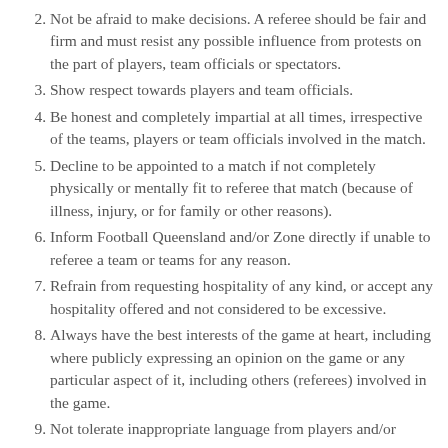Not be afraid to make decisions. A referee should be fair and firm and must resist any possible influence from protests on the part of players, team officials or spectators.
Show respect towards players and team officials.
Be honest and completely impartial at all times, irrespective of the teams, players or team officials involved in the match.
Decline to be appointed to a match if not completely physically or mentally fit to referee that match (because of illness, injury, or for family or other reasons).
Inform Football Queensland and/or Zone directly if unable to referee a team or teams for any reason.
Refrain from requesting hospitality of any kind, or accept any hospitality offered and not considered to be excessive.
Always have the best interests of the game at heart, including where publicly expressing an opinion on the game or any particular aspect of it, including others (referees) involved in the game.
Not tolerate inappropriate language from players and/or